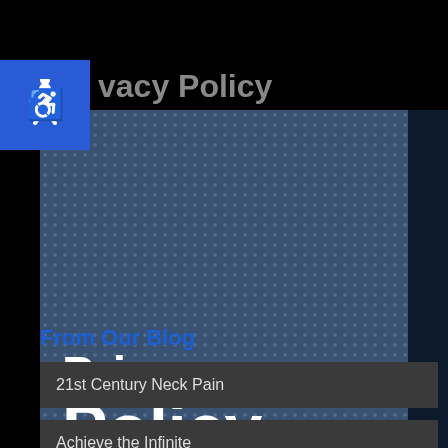vacy Policy
[Figure (illustration): Privacy Policy banner image with hexagonal dot pattern background in steel blue, showing 'Privacy Policy' text in white bold letters, with a dark navy sidebar on the right.]
From Our Blog
21st Century Neck Pain
Achieve the Infinite